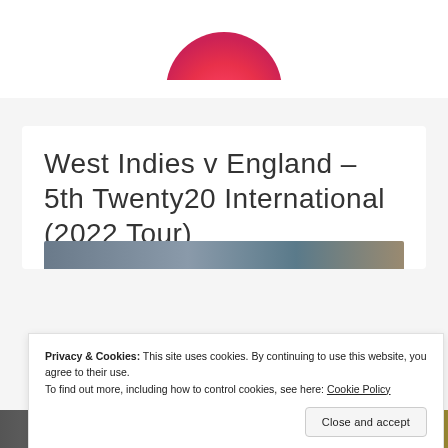[Figure (logo): Circular logo with pink-to-red gradient, partial view showing bottom portion of circle]
West Indies v England – 5th Twenty20 International (2022 Tour)
[Figure (photo): Partial photo strip visible at bottom of content card]
Privacy & Cookies: This site uses cookies. By continuing to use this website, you agree to their use.
To find out more, including how to control cookies, see here: Cookie Policy
Close and accept